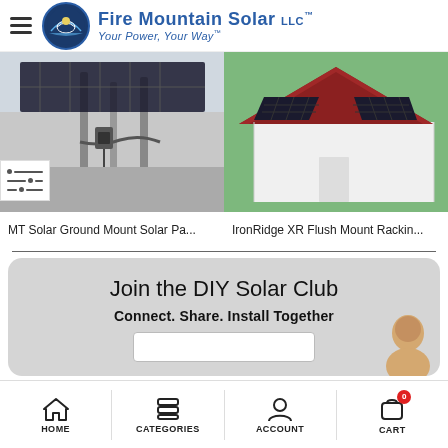Fire Mountain Solar LLC™ — Your Power, Your Way™
[Figure (photo): Ground mount solar panel array installation showing metal poles and conduit on concrete]
[Figure (illustration): 3D rendering of a barn-style building with solar panels on the roof]
MT Solar Ground Mount Solar Pa...
IronRidge XR Flush Mount Rackin...
Join the DIY Solar Club
Connect. Share. Install Together
HOME   CATEGORIES   ACCOUNT   CART 0